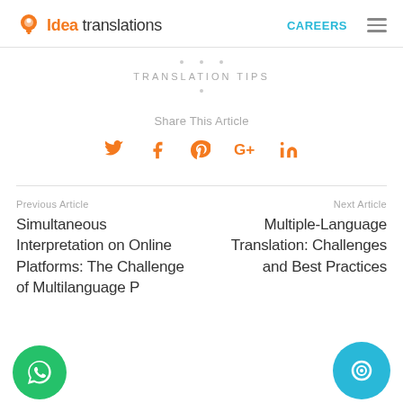Idea translations — CAREERS — menu
TRANSLATION TIPS
Share This Article
[Figure (infographic): Social media share icons: Twitter, Facebook, Pinterest, Google+, LinkedIn — all in orange]
Previous Article
Simultaneous Interpretation on Online Platforms: The Challenge of Multilanguage P...
Next Article
Multiple-Language Translation: Challenges and Best Practices